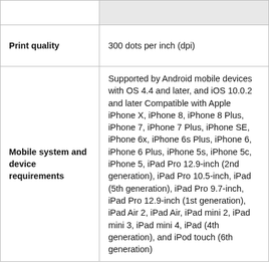| Feature | Details |
| --- | --- |
|  |  |
| Print quality | 300 dots per inch (dpi) |
| Mobile system and device requirements | Supported by Android mobile devices with OS 4.4 and later, and iOS 10.0.2 and later Compatible with Apple iPhone X, iPhone 8, iPhone 8 Plus, iPhone 7, iPhone 7 Plus, iPhone SE, iPhone 6x, iPhone 6s Plus, iPhone 6, iPhone 6 Plus, iPhone 5s, iPhone 5c, iPhone 5, iPad Pro 12.9-inch (2nd generation), iPad Pro 10.5-inch, iPad (5th generation), iPad Pro 9.7-inch, iPad Pro 12.9-inch (1st generation), iPad Air 2, iPad Air, iPad mini 2, iPad mini 3, iPad mini 4, iPad (4th generation), and iPod touch (6th generation) |